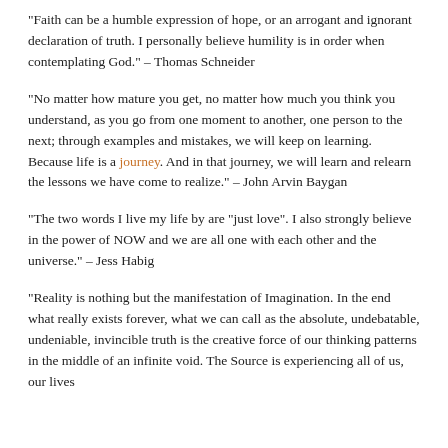“Faith can be a humble expression of hope, or an arrogant and ignorant declaration of truth. I personally believe humility is in order when contemplating God.” – Thomas Schneider
“No matter how mature you get, no matter how much you think you understand, as you go from one moment to another, one person to the next; through examples and mistakes, we will keep on learning. Because life is a journey. And in that journey, we will learn and relearn the lessons we have come to realize.” – John Arvin Baygan
“The two words I live my life by are “just love”. I also strongly believe in the power of NOW and we are all one with each other and the universe.” – Jess Habig
“Reality is nothing but the manifestation of Imagination. In the end what really exists forever, what we can call as the absolute, undebatable, undeniable, invincible truth is the creative force of our thinking patterns in the middle of an infinite void. The Source is experiencing all of us, our lives